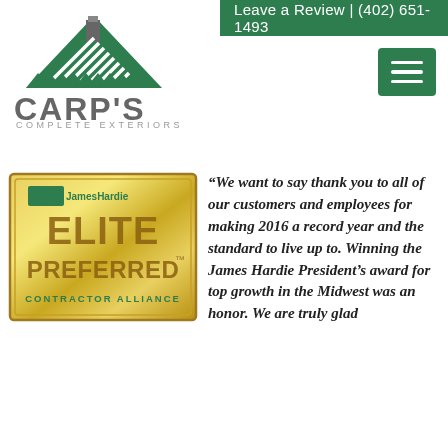Leave a Review | (402) 651-1493
[Figure (logo): Carp's Complete Exteriors logo with green house/mountain triangle graphic, company name CARP'S in large gray letters, tagline COMPLETE EXTERIORS in small spaced letters]
[Figure (logo): Green hamburger menu button (three horizontal white lines on green background)]
[Figure (logo): James Hardie Elite Preferred Contractor Alliance gold badge/award plaque]
“We want to say thank you to all of our customers and employees for making 2016 a record year and the standard to live up to. Winning the James Hardie President’s award for top growth in the Midwest was an honor. We are truly glad